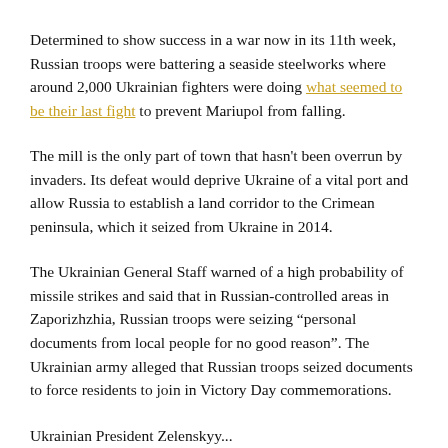Determined to show success in a war now in its 11th week, Russian troops were battering a seaside steelworks where around 2,000 Ukrainian fighters were doing what seemed to be their last fight to prevent Mariupol from falling.
The mill is the only part of town that hasn't been overrun by invaders. Its defeat would deprive Ukraine of a vital port and allow Russia to establish a land corridor to the Crimean peninsula, which it seized from Ukraine in 2014.
The Ukrainian General Staff warned of a high probability of missile strikes and said that in Russian-controlled areas in Zaporizhzhia, Russian troops were seizing “personal documents from local people for no good reason”. The Ukrainian army alleged that Russian troops seized documents to force residents to join in Victory Day commemorations.
Ukrainian President Zelenskyy...